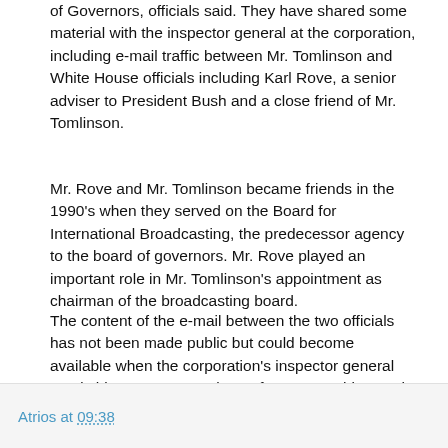of Governors, officials said. They have shared some material with the inspector general at the corporation, including e-mail traffic between Mr. Tomlinson and White House officials including Karl Rove, a senior adviser to President Bush and a close friend of Mr. Tomlinson.
Mr. Rove and Mr. Tomlinson became friends in the 1990's when they served on the Board for International Broadcasting, the predecessor agency to the board of governors. Mr. Rove played an important role in Mr. Tomlinson's appointment as chairman of the broadcasting board.
The content of the e-mail between the two officials has not been made public but could become available when the corporation's inspector general sends his report to members of Congress this month.
Atrios at 09:38